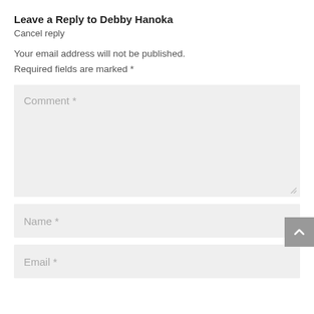Leave a Reply to Debby Hanoka
Cancel reply
Your email address will not be published.
Required fields are marked *
[Figure (screenshot): Comment text area input field with placeholder text 'Comment *' and a resize handle at the bottom right]
[Figure (screenshot): Name input field with placeholder text 'Name *']
[Figure (screenshot): Email input field with placeholder text 'Email *']